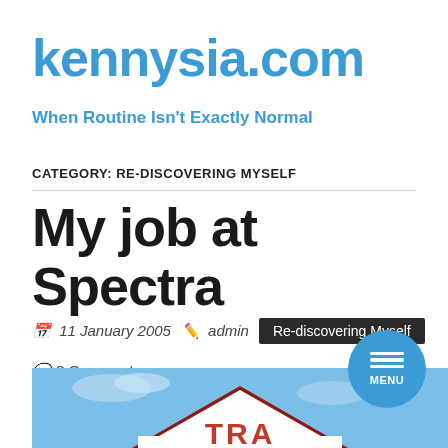kennysia.com
When Routine Isn't Exactly Normal
CATEGORY: RE-DISCOVERING MYSELF
My job at Spectra
11 January 2005  admin  Re-discovering Myself
8 Comments
[Figure (photo): Partial view of a building with a roof and the letters 'TRA' visible, with a blue sky background]